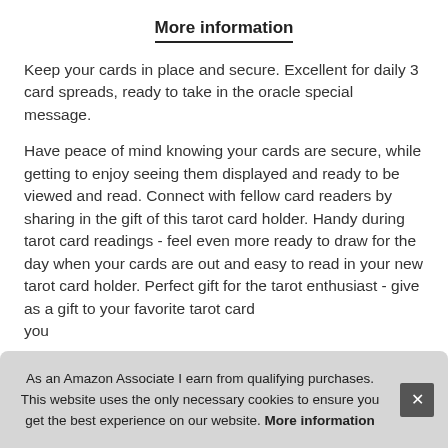More information
Keep your cards in place and secure. Excellent for daily 3 card spreads, ready to take in the oracle special message.
Have peace of mind knowing your cards are secure, while getting to enjoy seeing them displayed and ready to be viewed and read. Connect with fellow card readers by sharing in the gift of this tarot card holder. Handy during tarot card readings - feel even more ready to draw for the day when your cards are out and easy to read in your new tarot card holder. Perfect gift for the tarot enthusiast - give as a gift to your favorite tarot card... your...
As an Amazon Associate I earn from qualifying purchases. This website uses the only necessary cookies to ensure you get the best experience on our website. More information